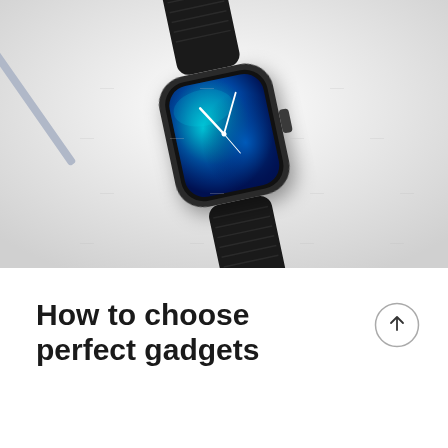[Figure (photo): An Apple Watch with a dark space gray aluminum case and black leather loop band, displaying a teal/blue nebula-style watch face with analog clock hands, photographed from above on a light gray surface with a stylus pen visible at the edge.]
How to choose perfect gadgets